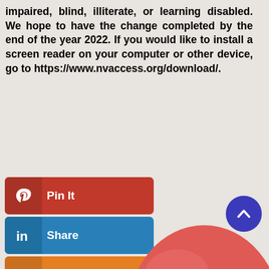impaired, blind, illiterate, or learning disabled. We hope to have the change completed by the end of the year 2022. If you would like to install a screen reader on your computer or other device, go to https://www.nvaccess.org/download/.
Pin It
Share (LinkedIn)
Share (Blogger)
Share (Instagram)
Goodreads
Tumblr
More
[Figure (illustration): A large red smiley face balloon/emoji with dark oval eyes and a slight smile, on a light beige background]